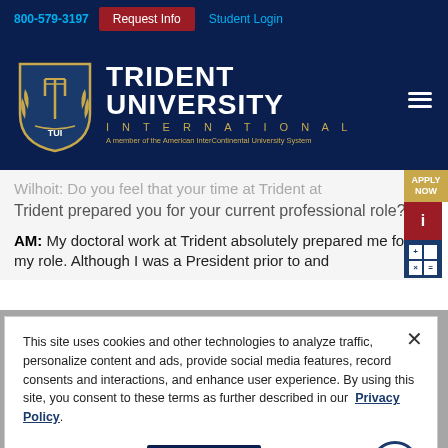800-579-3197 | Request Info | Student Login
[Figure (logo): Trident University International logo with shield emblem and text 'A member of the American InterContinental University System']
Trident prepared you for your current professional role?
AM: My doctoral work at Trident absolutely prepared me for my role. Although I was a President prior to and...
This site uses cookies and other technologies to analyze traffic, personalize content and ads, provide social media features, record consents and interactions, and enhance user experience. By using this site, you consent to these terms as further described in our Privacy Policy.
Cookie Settings
Got it